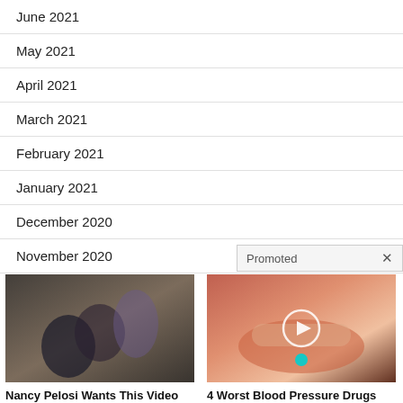June 2021
May 2021
April 2021
March 2021
February 2021
January 2021
December 2020
November 2020
Promoted ×
[Figure (photo): Political figures in conversation, with an ad headline: Nancy Pelosi Wants This Video Destroyed — Watch Now Before It's Banned, 175,969]
[Figure (photo): Close-up of a tongue with a pill, play button overlay. Ad headline: 4 Worst Blood Pressure Drugs (Avoid At All Costs), 63,581]